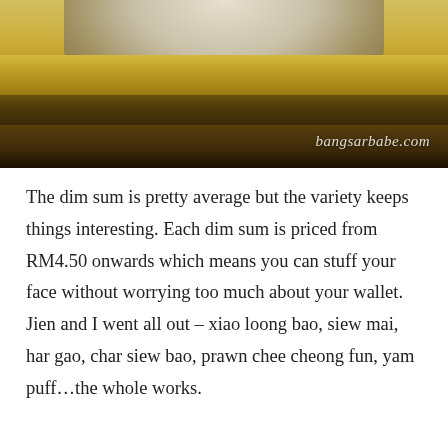[Figure (photo): Close-up photo of what appears to be a dim sum bamboo steamer basket from above, showing yellow/golden rim and steamed contents. Watermark 'bangsarbabe.com' in italic script on bottom right.]
The dim sum is pretty average but the variety keeps things interesting. Each dim sum is priced from RM4.50 onwards which means you can stuff your face without worrying too much about your wallet. Jien and I went all out – xiao loong bao, siew mai, har gao, char siew bao, prawn chee cheong fun, yam puff…the whole works.